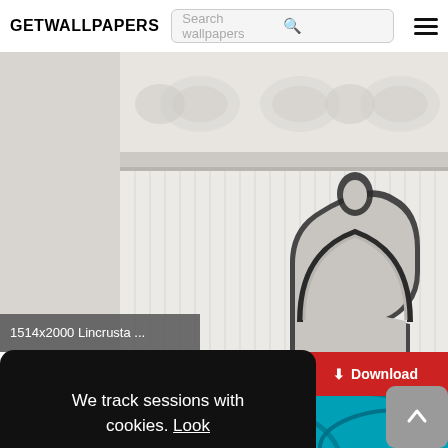GETWALLPAPERS | Search wallpapers
[Figure (photo): Decorative white Lincrusta wallpaper border with embossed floral/leaf pattern above a beadboard wainscoting, with an ornate white vintage mirror headboard partially visible. Caption overlay reads: 1514x2000 Lincrusta ...]
1514x2000 Lincrusta ...
We track sessions with cookies. Look
Ok
Download